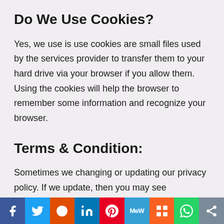Do We Use Cookies?
Yes, we use is use cookies are small files used by the services provider to transfer them to your hard drive via your browser if you allow them. Using the cookies will help the browser to remember some information and recognize your browser.
Terms & Condition:
Sometimes we changing or updating our privacy policy. If we update, then you may see
[Figure (infographic): Social media share bar with icons: Facebook (blue), Twitter (light blue), Reddit (orange-red), LinkedIn (blue), Pinterest (red), MeWe (teal), Mix (orange), WhatsApp (green), Share (grey)]